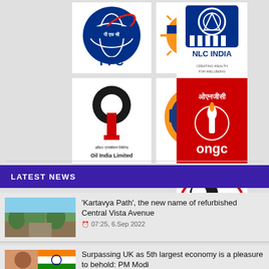[Figure (logo): PFC (Power Finance Corporation) logo — blue globe with Hindi text and PFC lettering]
[Figure (logo): REC logo — orange sun with Hindi text and REC lettering]
[Figure (logo): NLC India logo — blue badge with creating wealth for wellbeing text]
[Figure (logo): Oil India Limited logo — black circle with red pillar and Oil India Limited text]
[Figure (logo): IndianOil logo — orange circle with Hindi text and IndianOil lettering]
[Figure (logo): ONGC logo — red and white logo with ओएनजीसी Hindi text and ONGC lettering]
[Figure (logo): GAIL logo — white box with red oval and GM styled logo with GAIL text]
LATEST NEWS
'Kartavya Path', the new name of refurbished Central Vista Avenue
07:25, 6.Sep 2022
Surpassing UK as 5th largest economy is a pleasure to behold: PM Modi